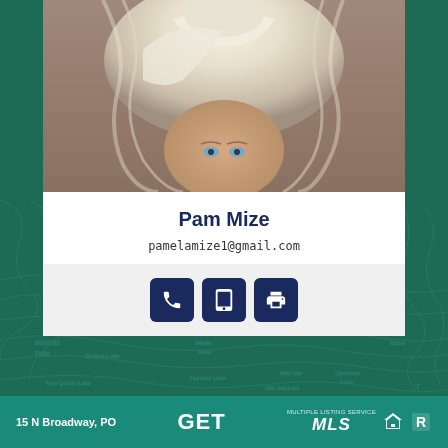[Figure (photo): Headshot photo of real estate agent Pam Mize, a woman with short platinum/white-blonde hair]
Pam Mize
pamelamize1@gmail.com
[Figure (infographic): Three dark navy icon buttons: phone, tablet, and printer]
15 N Broadway, PO   GET   MLS (Multiple Listing Service logos and equal housing logos)